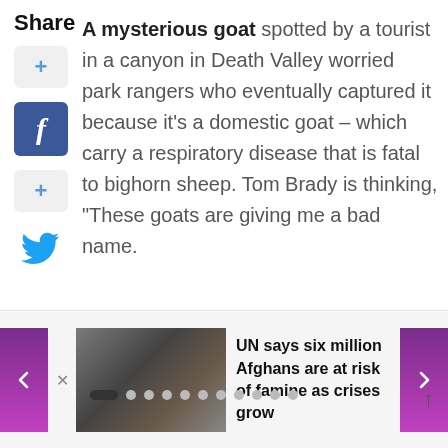Share
A mysterious goat spotted by a tourist in a canyon in Death Valley worried park rangers who eventually captured it because it's a domestic goat – which carry a respiratory disease that is fatal to bighorn sheep. Tom Brady is thinking, "These goats are giving me a bad name.
[Figure (screenshot): Social share buttons: add (+), Facebook, add (+), Twitter]
[Figure (photo): News carousel showing people in burqas]
UN says six million Afghans are at risk of famine as crises grow
[Figure (infographic): Pagination dots with first dot active (filled black pill), followed by 10 gray dots]